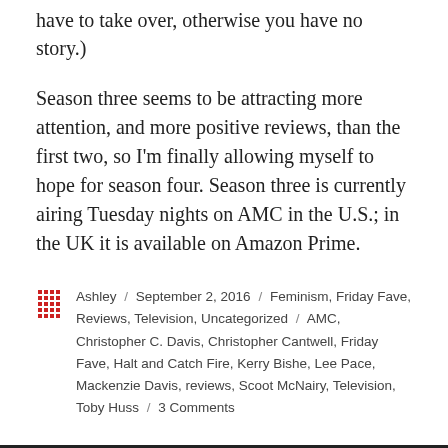have to take over, otherwise you have no story.)
Season three seems to be attracting more attention, and more positive reviews, than the first two, so I'm finally allowing myself to hope for season four. Season three is currently airing Tuesday nights on AMC in the U.S.; in the UK it is available on Amazon Prime.
Ashley / September 2, 2016 / Feminism, Friday Fave, Reviews, Television, Uncategorized / AMC, Christopher C. Davis, Christopher Cantwell, Friday Fave, Halt and Catch Fire, Kerry Bishe, Lee Pace, Mackenzie Davis, reviews, Scoot McNairy, Television, Toby Huss / 3 Comments